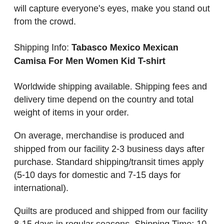will capture everyone's eyes, make you stand out from the crowd.
Shipping Info: Tabasco Mexico Mexican Camisa For Men Women Kid T-shirt
Worldwide shipping available. Shipping fees and delivery time depend on the country and total weight of items in your order.
On average, merchandise is produced and shipped from our facility 2-3 business days after purchase. Standard shipping/transit times apply (5-10 days for domestic and 7-15 days for international).
Quilts are produced and shipped from our facility 8-15 days in regular seasons. Shipping Time: 10 – 15 days* in regular seasons for Quilts.